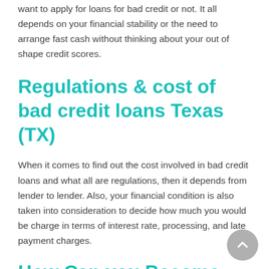want to apply for loans for bad credit or not. It all depends on your financial stability or the need to arrange fast cash without thinking about your out of shape credit scores.
Regulations & cost of bad credit loans Texas (TX)
When it comes to find out the cost involved in bad credit loans and what all are regulations, then it depends from lender to lender. Also, your financial condition is also taken into consideration to decide how much you would be charge in terms of interest rate, processing, and late payment charges.
How Can you Become